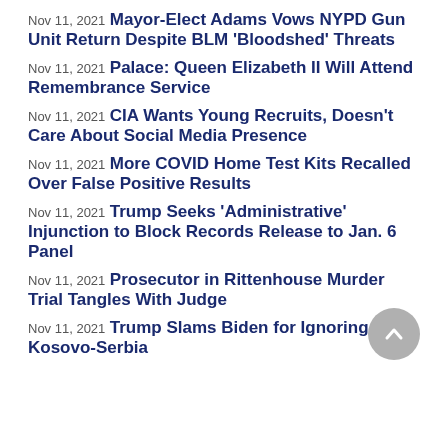Nov 11, 2021 Mayor-Elect Adams Vows NYPD Gun Unit Return Despite BLM 'Bloodshed' Threats
Nov 11, 2021 Palace: Queen Elizabeth II Will Attend Remembrance Service
Nov 11, 2021 CIA Wants Young Recruits, Doesn't Care About Social Media Presence
Nov 11, 2021 More COVID Home Test Kits Recalled Over False Positive Results
Nov 11, 2021 Trump Seeks 'Administrative' Injunction to Block Records Release to Jan. 6 Panel
Nov 11, 2021 Prosecutor in Rittenhouse Murder Trial Tangles With Judge
Nov 11, 2021 Trump Slams Biden for Ignoring Kosovo-Serbia